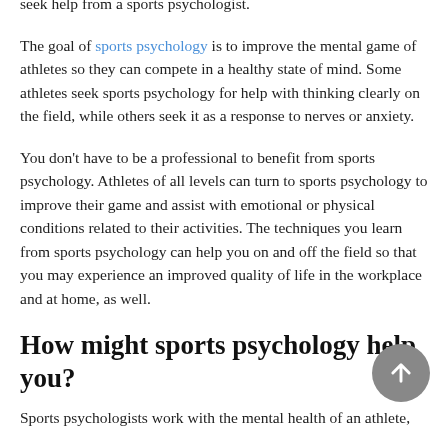seek help from a sports psychologist.
The goal of sports psychology is to improve the mental game of athletes so they can compete in a healthy state of mind. Some athletes seek sports psychology for help with thinking clearly on the field, while others seek it as a response to nerves or anxiety.
You don't have to be a professional to benefit from sports psychology. Athletes of all levels can turn to sports psychology to improve their game and assist with emotional or physical conditions related to their activities. The techniques you learn from sports psychology can help you on and off the field so that you may experience an improved quality of life in the workplace and at home, as well.
How might sports psychology help you?
Sports psychologists work with the mental health of an athlete, but they can also serve as a resource for the...